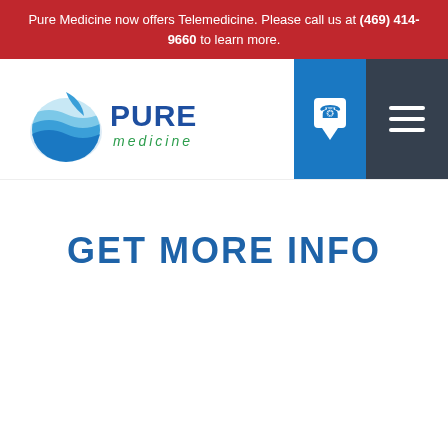Pure Medicine now offers Telemedicine. Please call us at (469) 414-9660 to learn more.
[Figure (logo): Pure Medicine logo with blue water drop graphic and blue/green text reading PURE medicine]
GET MORE INFO